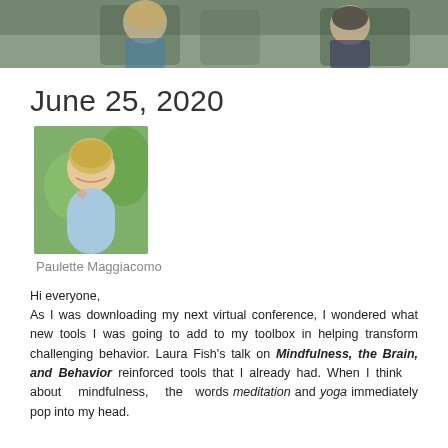[Figure (photo): Top banner photo showing people sitting outdoors, partially cropped]
June 25, 2020
[Figure (photo): Headshot photo of Paulette Maggiacomo, a blonde woman smiling, outdoors green background]
Paulette Maggiacomo
Hi everyone,
As I was downloading my next virtual conference, I wondered what new tools I was going to add to my toolbox in helping transform challenging behavior. Laura Fish’s talk on Mindfulness, the Brain, and Behavior reinforced tools that I already had. When I think about mindfulness, the words meditation and yoga immediately pop into my head.